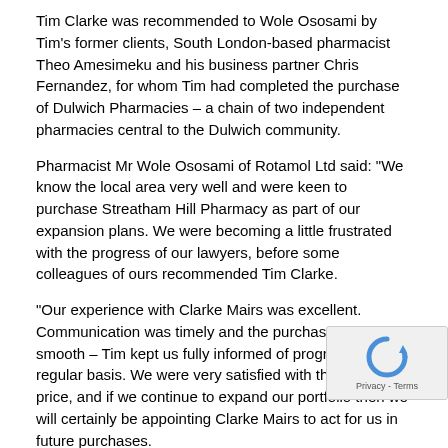Tim Clarke was recommended to Wole Ososami by Tim's former clients, South London-based pharmacist Theo Amesimeku and his business partner Chris Fernandez, for whom Tim had completed the purchase of Dulwich Pharmacies – a chain of two independent pharmacies central to the Dulwich community.
Pharmacist Mr Wole Ososami of Rotamol Ltd said: "We know the local area very well and were keen to purchase Streatham Hill Pharmacy as part of our expansion plans. We were becoming a little frustrated with the progress of our lawyers, before some colleagues of ours recommended Tim Clarke.
"Our experience with Clarke Mairs was excellent. Communication was timely and the purchase was smooth – Tim kept us fully informed of progress on a regular basis. We were very satisfied with the agreed price, and if we continue to expand our portfolio then we will certainly be appointing Clarke Mairs to act for us in future purchases.
Pharmacist Theo Amesimeku said: "We purchased Dulwich Pharmacies – incorporating Rumsey Pharmacy and Brock... Pharmacy – earlier this year, as part of a lengthy process w... Tim helped to ease, thanks to his continued patience and a... We were very impressed with his extensive knowledge of our